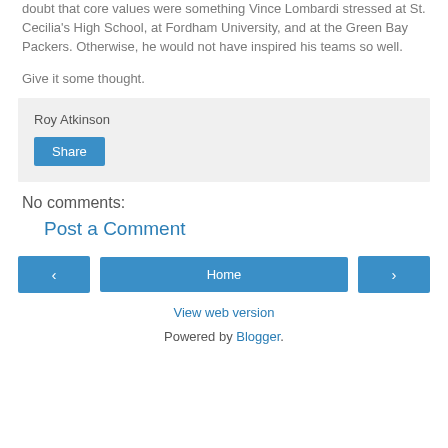doubt that core values were something Vince Lombardi stressed at St. Cecilia's High School, at Fordham University, and at the Green Bay Packers. Otherwise, he would not have inspired his teams so well.
Give it some thought.
Roy Atkinson
Share
No comments:
Post a Comment
‹
Home
›
View web version
Powered by Blogger.